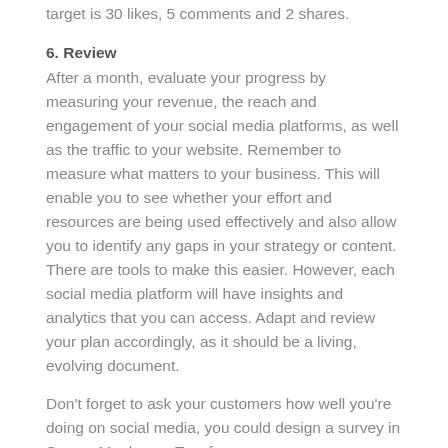target is 30 likes, 5 comments and 2 shares.
6. Review
After a month, evaluate your progress by measuring your revenue, the reach and engagement of your social media platforms, as well as the traffic to your website. Remember to measure what matters to your business. This will enable you to see whether your effort and resources are being used effectively and also allow you to identify any gaps in your strategy or content. There are tools to make this easier. However, each social media platform will have insights and analytics that you can access. Adapt and review your plan accordingly, as it should be a living, evolving document.
Don't forget to ask your customers how well you're doing on social media, you could design a survey in Survey Monkey or Typeform.
Once you've worked through these six stages you'll